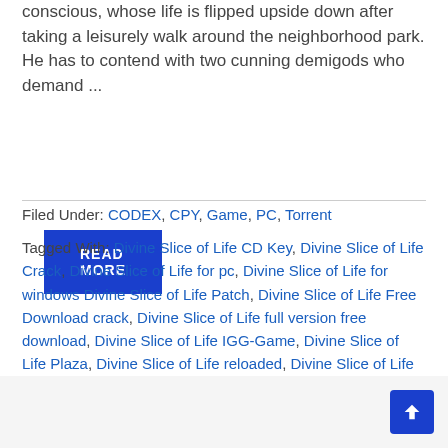conscious, whose life is flipped upside down after taking a leisurely walk around the neighborhood park. He has to contend with two cunning demigods who demand ...
READ MORE
Filed Under: CODEX, CPY, Game, PC, Torrent
Tagged With: Divine Slice of Life CD Key, Divine Slice of Life Crack, Divine Slice of Life for pc, Divine Slice of Life for windows Divine Slice of Life Patch, Divine Slice of Life Free Download crack, Divine Slice of Life full version free download, Divine Slice of Life IGG-Game, Divine Slice of Life Plaza, Divine Slice of Life reloaded, Divine Slice of Life torrent